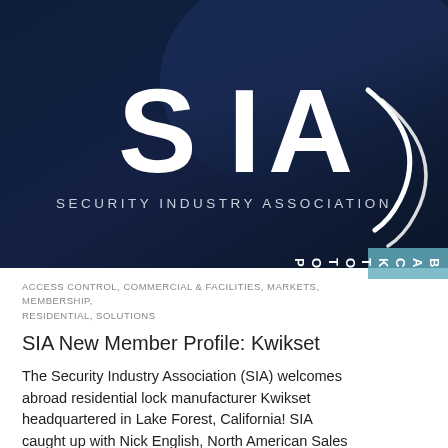[Figure (logo): Security Industry Association (SIA) logo on dark navy blue background. Large white bold letters 'SIA' with swoosh/arc design elements, and text 'SECURITY INDUSTRY ASSOCIATION' below.]
ACCESS CONTROL, COMMERCIAL & FACILITIES, MARKETS, MEMBERSHIP, RESIDENTIAL, SOLUTIONS
SIA New Member Profile: Kwikset
The Security Industry Association (SIA) welcomes aboard residential lock manufacturer Kwikset headquartered in Lake Forest, California! SIA caught up with Nick English, North American Sales Manager